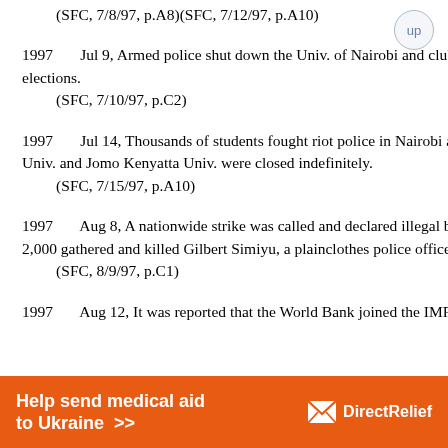(SFC, 7/8/97, p.A8)(SFC, 7/12/97, p.A10)
1997       Jul 9, Armed police shut down the Univ. of Nairobi and clubbed students who demanded free and fair elections.
    (SFC, 7/10/97, p.C2)
1997       Jul 14, Thousands of students fought riot police in Nairobi and demanded constitutional reforms. Nairobi Univ. and Jomo Kenyatta Univ. were closed indefinitely.
    (SFC, 7/15/97, p.A10)
1997       Aug 8, A nationwide strike was called and declared illegal by the government. In Nairobi a crowd of some 2,000 gathered and killed Gilbert Simiyu, a plainclothes police officer. The strike turned into a riot with looting.
    (SFC, 8/9/97, p.C1)
1997       Aug 12, It was reported that the World Bank joined the IMF in withholding credit due to
[Figure (other): Orange advertisement banner: 'Help send medical aid to Ukraine >>' with DirectRelief logo on the right]